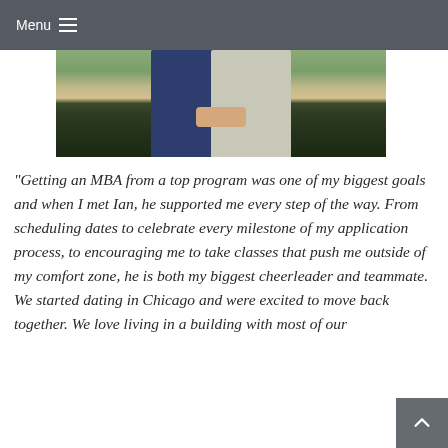Menu
[Figure (photo): Photograph of two people standing together holding hands, visible from the waist down. One person wears a dark navy skirt, the other wears a light grey linen shirt and dark pants. Background shows greenery.]
“Getting an MBA from a top program was one of my biggest goals and when I met Ian, he supported me every step of the way. From scheduling dates to celebrate every milestone of my application process, to encouraging me to take classes that push me outside of my comfort zone, he is both my biggest cheerleader and teammate. We started dating in Chicago and were excited to move back together. We love living in a building with most of our